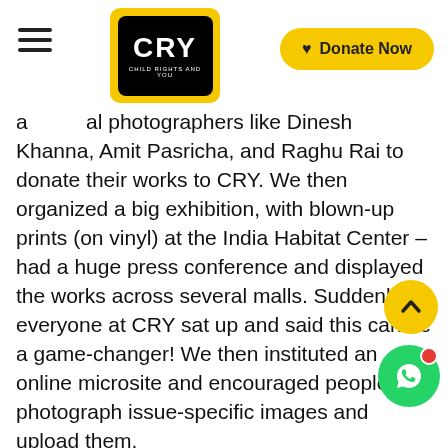CRY - Child Rights and You | Donate Now
a... al photographers like Dinesh Khanna, Amit Pasricha, and Raghu Rai to donate their works to CRY. We then organized a big exhibition, with blown-up prints (on vinyl) at the India Habitat Center - had a huge press conference and displayed the works across several malls. Suddenly everyone at CRY sat up and said this can be a game-changer! We then instituted an online microsite and encouraged people to photograph issue-specific images and upload them.
Now we have several established photographers who mentor volunteers with Child Labour as a theme. Vicky Roy, a young and incredible photographer, and his photo